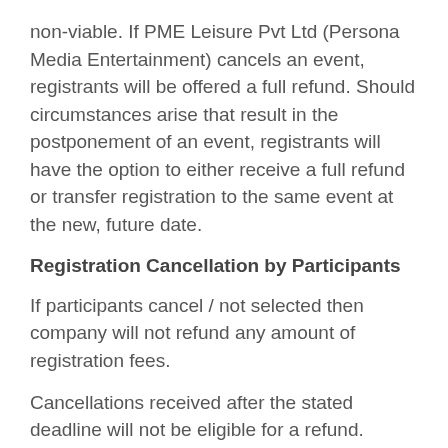non-viable. If PME Leisure Pvt Ltd (Persona Media Entertainment) cancels an event, registrants will be offered a full refund. Should circumstances arise that result in the postponement of an event, registrants will have the option to either receive a full refund or transfer registration to the same event at the new, future date.
Registration Cancellation by Participants
If participants cancel / not selected then company will not refund any amount of registration fees.
Cancellations received after the stated deadline will not be eligible for a refund. Refunds will not be available for registrants who choose not to attend an event.
If you register for an event as an audience and unable to attend the event then you cannot transfer